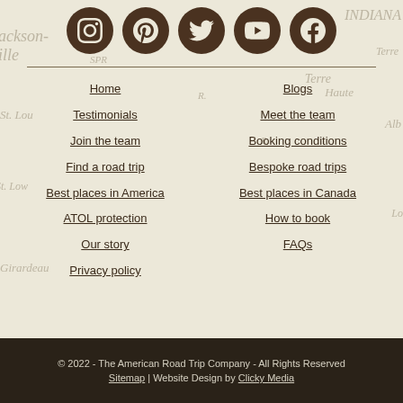[Figure (infographic): Row of 5 social media icons (Instagram, Pinterest, Twitter, YouTube, Facebook) as dark brown circles on a vintage map background]
Home
Blogs
Testimonials
Meet the team
Join the team
Booking conditions
Find a road trip
Bespoke road trips
Best places in America
Best places in Canada
ATOL protection
How to book
Our story
FAQs
Privacy policy
© 2022 - The American Road Trip Company - All Rights Reserved
Sitemap | Website Design by Clicky Media